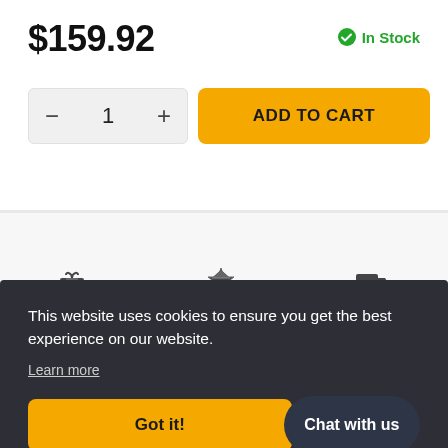$159.92
In Stock
1
ADD TO CART
PERFECT GIFT
GREAT QUALITY
FAST DELIVERY
SHARE
This website uses cookies to ensure you get the best experience on our website.
Learn more
Got it!
Chat with us